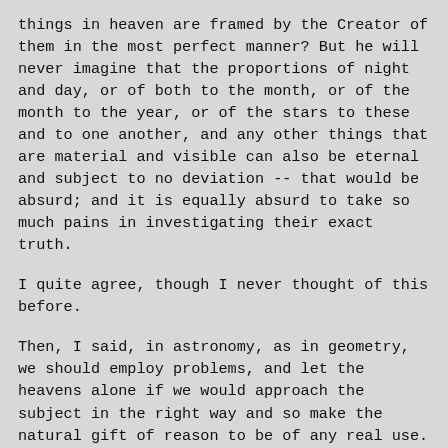things in heaven are framed by the Creator of them in the most perfect manner? But he will never imagine that the proportions of night and day, or of both to the month, or of the month to the year, or of the stars to these and to one another, and any other things that are material and visible can also be eternal and subject to no deviation -- that would be absurd; and it is equally absurd to take so much pains in investigating their exact truth.
I quite agree, though I never thought of this before.
Then, I said, in astronomy, as in geometry, we should employ problems, and let the heavens alone if we would approach the subject in the right way and so make the natural gift of reason to be of any real use.